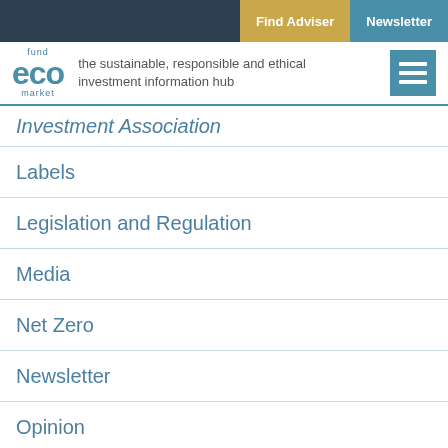Find Adviser | Newsletter
[Figure (logo): fund eco market logo with tagline: the sustainable, responsible and ethical investment information hub]
Investment Association
Labels
Legislation and Regulation
Media
Net Zero
Newsletter
Opinion
Pensions and SRI